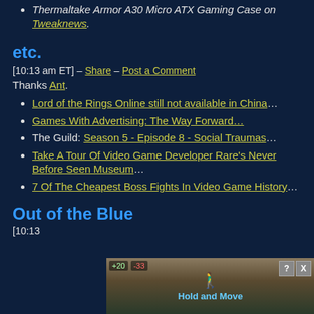Thermaltake Armor A30 Micro ATX Gaming Case on Tweaknews.
etc.
[10:13 am ET] – Share – Post a Comment
Thanks Ant.
Lord of the Rings Online still not available in China…
Games With Advertising: The Way Forward…
The Guild: Season 5 - Episode 8 - Social Traumas…
Take A Tour Of Video Game Developer Rare's Never Before Seen Museum…
7 Of The Cheapest Boss Fights In Video Game History…
Out of the Blue
[10:13
[Figure (screenshot): Advertisement banner showing a game or app called 'Hold and Move' with trees in background, +20 and -33 badges, and close/help buttons]